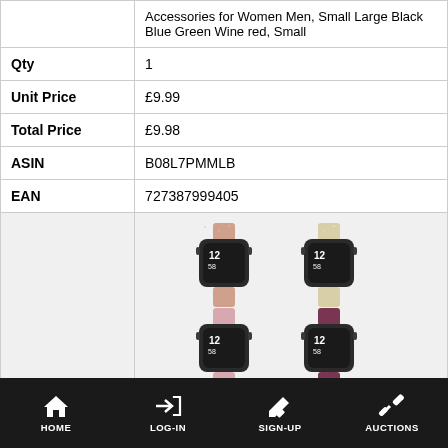|  | Accessories for Women Men, Small Large Black Blue Green Wine red, Small |
| Qty | 1 |
| Unit Price | £9.99 |
| Total Price | £9.98 |
| ASIN | B08L7PMMLB |
| EAN | 727387999405 |
|  | [Product image: 4 smartwatch bands] |
HOME   LOG-IN   SIGN-UP   AUCTIONS